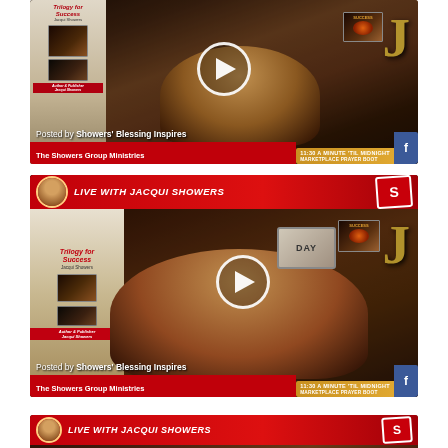[Figure (screenshot): Video thumbnail 1: Woman smiling, books on left, J letter decor on right. Posted by Showers' Blessing Inspires / The Showers Group Ministries. 11:30 A MINUTE 'TIL MIDNIGHT MARKETPLACE PRAYER BOOT banner at bottom right.]
[Figure (screenshot): Video thumbnail 2: Live with Jacqui Showers banner at top. Woman in colorful outfit. Book banner on left. J letter decor on right. Posted by Showers' Blessing Inspires / The Showers Group Ministries. 11:30 A MINUTE 'TIL MIDNIGHT MARKETPLACE PRAYER BOOT banner at bottom right.]
[Figure (screenshot): Partial video thumbnail 3: Live with Jacqui Showers banner visible at top. Cropped at bottom of page.]